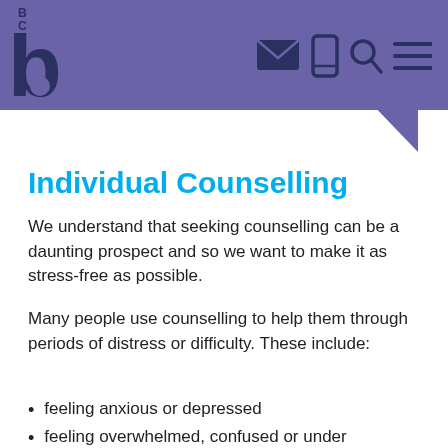BCS
Individual Counselling
We understand that seeking counselling can be a daunting prospect and so we want to make it as stress-free as possible.
Many people use counselling to help them through periods of distress or difficulty. These include:
feeling anxious or depressed
feeling overwhelmed, confused or under